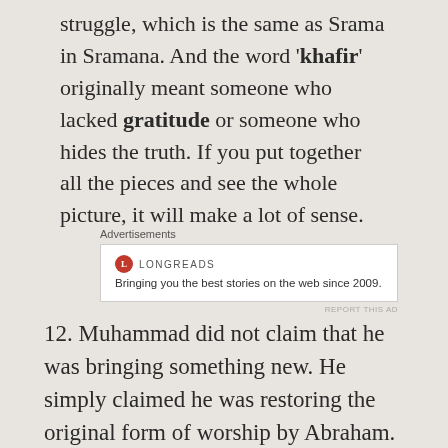struggle, which is the same as Srama in Sramana. And the word 'khafir' originally meant someone who lacked gratitude or someone who hides the truth. If you put together all the pieces and see the whole picture, it will make a lot of sense.
[Figure (screenshot): Advertisement box for Longreads: red circle logo with L, brand name LONGREADS, tagline 'Bringing you the best stories on the web since 2009.']
12. Muhammad did not claim that he was bringing something new. He simply claimed he was restoring the original form of worship by Abraham. Who is Abraham? People have noticed strong similarity between Abraham